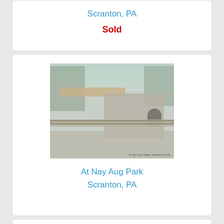Scranton, PA
Sold
[Figure (photo): Vintage postcard photograph showing a rocky gorge with a railroad bridge, train tracks, rock walls, and a tunnel at Nay Aug Park in Scranton, PA. Trees visible in background, faded muted colors.]
At Nay Aug Park
Scranton, PA